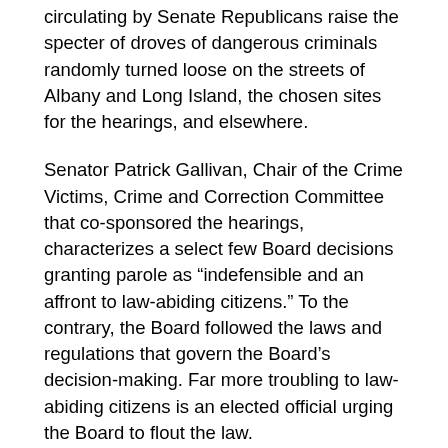circulating by Senate Republicans raise the specter of droves of dangerous criminals randomly turned loose on the streets of Albany and Long Island, the chosen sites for the hearings, and elsewhere.
Senator Patrick Gallivan, Chair of the Crime Victims, Crime and Correction Committee that co-sponsored the hearings, characterizes a select few Board decisions granting parole as “indefensible and an affront to law-abiding citizens.” To the contrary, the Board followed the laws and regulations that govern the Board’s decision-making. Far more troubling to law-abiding citizens is an elected official urging the Board to flout the law.
The Legislature passes laws that set minimum and maximum sentences, and judges mete out sentences pursuant to those laws. A person becomes eligible for parole after they have served their minimum judicially-imposed sentence. The Legislature has enumerated a